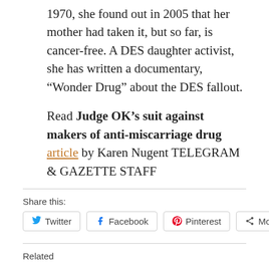1970, she found out in 2005 that her mother had taken it, but so far, is cancer-free. A DES daughter activist, she has written a documentary, “Wonder Drug” about the DES fallout.
Read Judge OK’s suit against makers of anti-miscarriage drug article by Karen Nugent TELEGRAM & GAZETTE STAFF
Share this:
Twitter  Facebook  Pinterest  More
Related